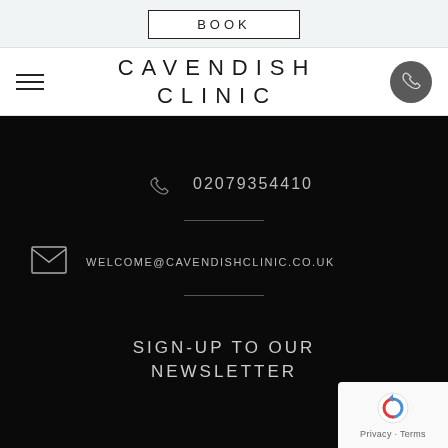BOOK
CAVENDISH CLINIC
02079354410
WELCOME@CAVENDISHCLINIC.CO.UK
SIGN-UP TO OUR NEWSLETTER